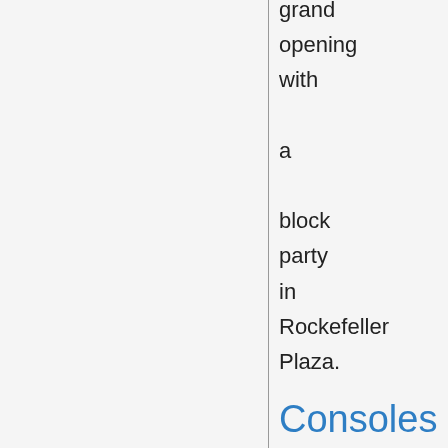grand opening with a block party in Rockefeller Plaza.
Consoles
NES
Main articles: